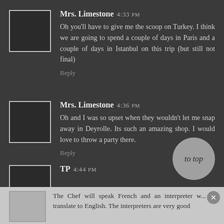Mrs. Limestone 4:33 PM
Oh you'll have to give me the scoop on Turkey. I think we are going to spend a couple of days in Paris and a couple of days in Istanbul on this trip (but still not final)
Reply
Mrs. Limestone 4:36 PM
Oh and I was so upset when they wouldn't let me snap away in Deyrolle. Its such an amazing shop. I would love to throw a party there.
Reply
TP 4:44 PM
The Chef will speak French and an interpreter w... translate to English. The interpreters are very good
[Figure (other): to top circular button]
[Figure (other): close/dismiss circular button]